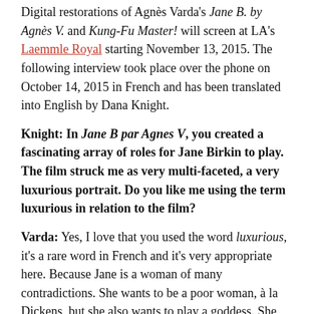Digital restorations of Agnès Varda's Jane B. by Agnès V. and Kung-Fu Master! will screen at LA's Laemmle Royal starting November 13, 2015. The following interview took place over the phone on October 14, 2015 in French and has been translated into English by Dana Knight.
Knight: In Jane B par Agnes V, you created a fascinating array of roles for Jane Birkin to play. The film struck me as very multi-faceted, a very luxurious portrait. Do you like me using the term luxurious in relation to the film?
Varda: Yes, I love that you used the word luxurious, it's a rare word in French and it's very appropriate here. Because Jane is a woman of many contradictions. She wants to be a poor woman, à la Dickens, but she also wants to play a goddess. She wants to be loved, she wants to play a little girl and then a grown-up woman. She wants to play every role and feel everything. What I like the most about Jane is